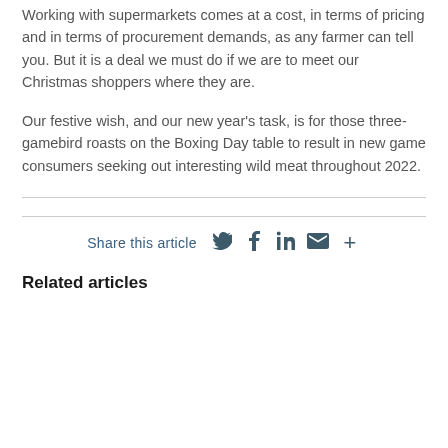Working with supermarkets comes at a cost, in terms of pricing and in terms of procurement demands, as any farmer can tell you. But it is a deal we must do if we are to meet our Christmas shoppers where they are.
Our festive wish, and our new year's task, is for those three-gamebird roasts on the Boxing Day table to result in new game consumers seeking out interesting wild meat throughout 2022.
Share this article
Related articles